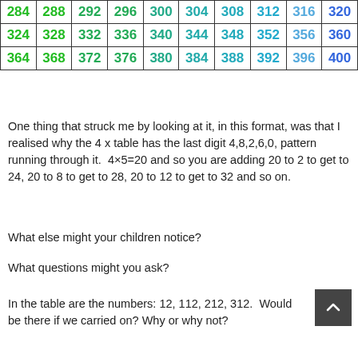| 284 | 288 | 292 | 296 | 300 | 304 | 308 | 312 | 316 | 320 |
| 324 | 328 | 332 | 336 | 340 | 344 | 348 | 352 | 356 | 360 |
| 364 | 368 | 372 | 376 | 380 | 384 | 388 | 392 | 396 | 400 |
One thing that struck me by looking at it, in this format, was that I realised why the 4 x table has the last digit 4,8,2,6,0, pattern running through it.  4×5=20 and so you are adding 20 to 2 to get to 24, 20 to 8 to get to 28, 20 to 12 to get to 32 and so on.
What else might your children notice?
What questions might you ask?
In the table are the numbers: 12, 112, 212, 312.  Would be there if we carried on? Why or why not?